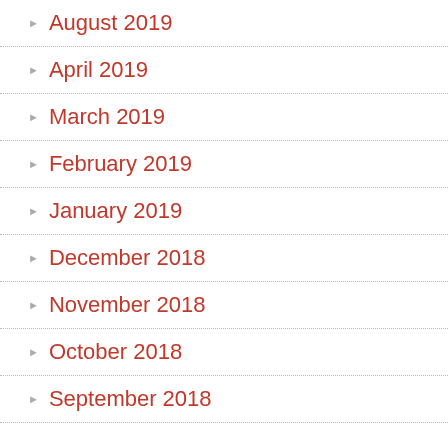August 2019
April 2019
March 2019
February 2019
January 2019
December 2018
November 2018
October 2018
September 2018